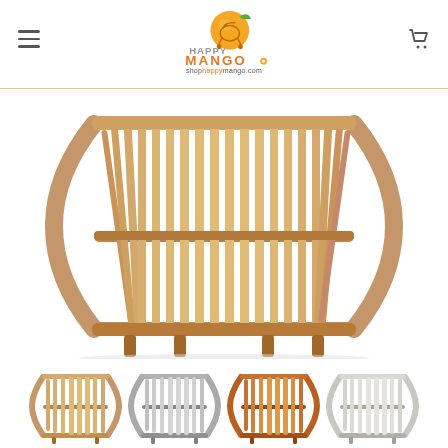[Figure (logo): Happy Mango baby store logo with orange mango fruit and stroller icon, text 'HAPPY MANGO' and website 'shophappymango.com']
[Figure (photo): Stylish bamboo/wood slatted baby crib with curved barrel-shaped sides, viewed from the front, natural wood color]
[Figure (photo): Row of four thumbnail images of the same bamboo crib in different color variants: natural, grey/white, orange/brown, and light grey]